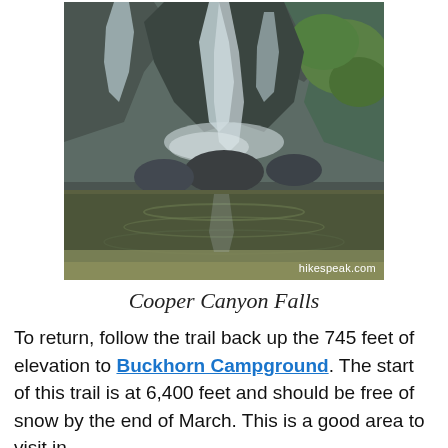[Figure (photo): Waterfall cascading over dark rocks into a pool, with mossy green boulders on the right side. Photo watermarked with hikespeak.com.]
Cooper Canyon Falls
To return, follow the trail back up the 745 feet of elevation to Buckhorn Campground. The start of this trail is at 6,400 feet and should be free of snow by the end of March. This is a good area to visit in